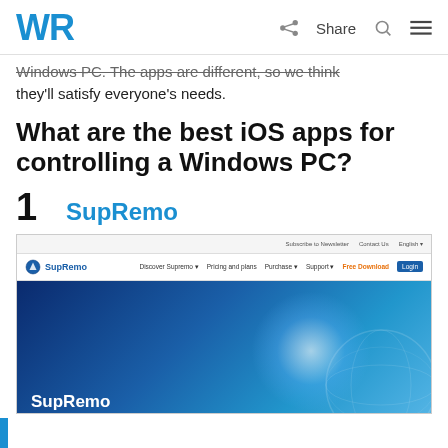WR | Share
Windows PC. The apps are different, so we think they'll satisfy everyone's needs.
What are the best iOS apps for controlling a Windows PC?
1 SupRemo
[Figure (screenshot): Screenshot of the SupRemo website showing the navigation bar with links: Discover Supremo, Pricing and plans, Purchase, Support, Free Download, Login; and hero section with dark blue background showing 'SupRemo' heading and 'Remote desktop control made easy and quick' tagline, with a globe graphic and light burst effect.]